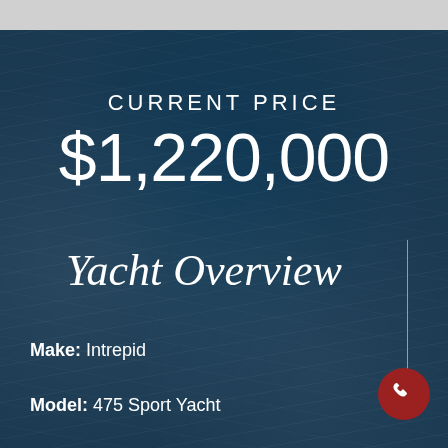CURRENT PRICE
$1,220,000
Yacht Overview
Make: Intrepid
Model: 475 Sport Yacht